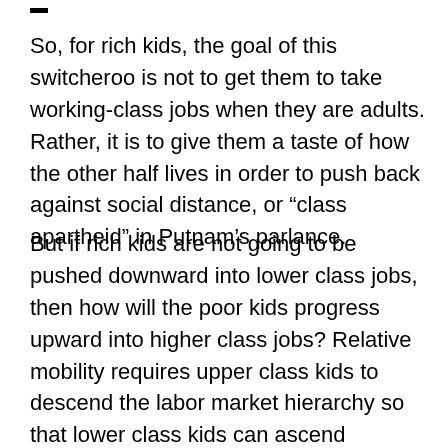So, for rich kids, the goal of this switcheroo is not to get them to take working-class jobs when they are adults. Rather, it is to give them a taste of how the other half lives in order to push back against social distance, or “class apartheid” in Putnam’s parlance.
But if rich kids are not going to be pushed downward into lower class jobs, then how will the poor kids progress upward into higher class jobs? Relative mobility requires upper class kids to descend the labor market hierarchy so that lower class kids can ascend